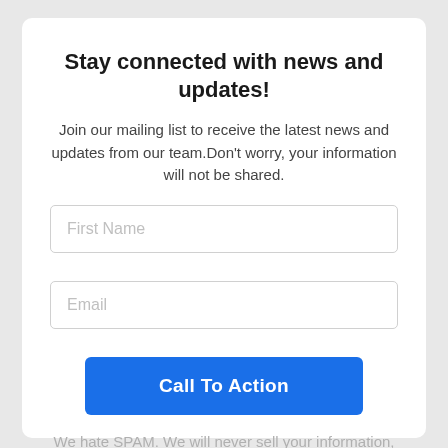Stay connected with news and updates!
Join our mailing list to receive the latest news and updates from our team.Don't worry, your information will not be shared.
First Name
Email
Call To Action
We hate SPAM. We will never sell your information, for any reason.